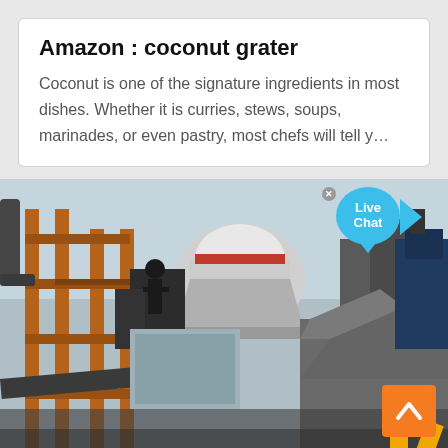Amazon : coconut grater
Coconut is one of the signature ingredients in most dishes. Whether it is curries, stews, soups, marinades, or even pastry, most chefs will tell y…
[Figure (photo): Industrial machinery/construction site scene with metal structures, a cone crusher, workers on scaffolding, rubble, and blue sky. Overlaid with a 'Live Chat' bubble in the top right and an orange scroll-to-top arrow button in the bottom right.]